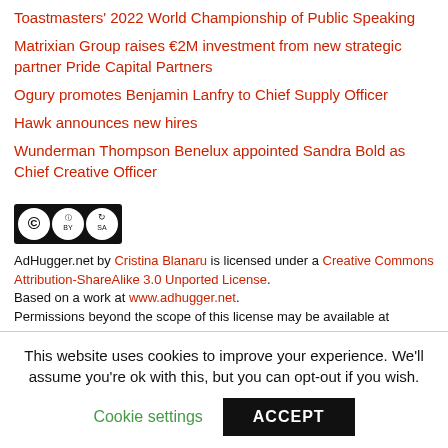Toastmasters' 2022 World Championship of Public Speaking
Matrixian Group raises €2M investment from new strategic partner Pride Capital Partners
Ogury promotes Benjamin Lanfry to Chief Supply Officer
Hawk announces new hires
Wunderman Thompson Benelux appointed Sandra Bold as Chief Creative Officer
[Figure (logo): Creative Commons CC BY SA license logo]
AdHugger.net by Cristina Blanaru is licensed under a Creative Commons Attribution-ShareAlike 3.0 Unported License. Based on a work at www.adhugger.net. Permissions beyond the scope of this license may be available at http://www.adhugger.net/about/
This website uses cookies to improve your experience. We'll assume you're ok with this, but you can opt-out if you wish. Cookie settings ACCEPT